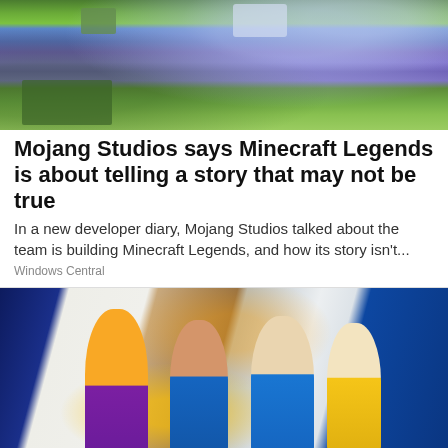[Figure (photo): Minecraft Legends screenshot showing purple and green landscape with blocky terrain]
Mojang Studios says Minecraft Legends is about telling a story that may not be true
In a new developer diary, Mojang Studios talked about the team is building Minecraft Legends, and how its story isn't...
Windows Central
[Figure (photo): Four women in uniforms (yellow and blue polo shirts) standing in front of a house entrance with floral wreath]
Online Home Store for Furniture
Shop Wayfair for A Zillion Things Home across all styles
www.wayfair.com